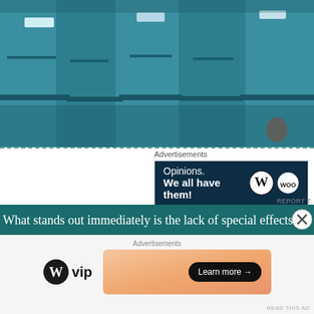[Figure (photo): Photo of several people standing in a row wearing teal/blue uniforms or jumpsuits, cropped at torso level, blurred background]
[Figure (screenshot): Advertisement box with dark navy background showing 'Opinions. We all have them!' text with WordPress and WooCommerce logos]
What stands out immediately is the lack of special effects in co genre series idea like Almost Human. Almost Human was not ab expertly told story, a movie star lead in Karl Urban, and dazzli Synths are humans, seemingly unmodified except for cont
[Figure (screenshot): Bottom advertisement banner with WordPress VIP logo on left and gradient orange/pink banner with 'Learn more →' button on right]